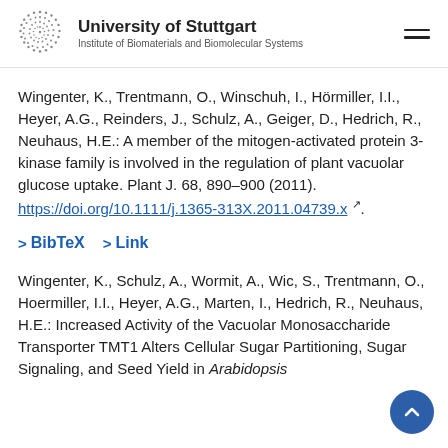University of Stuttgart — Institute of Biomaterials and Biomolecular Systems
Wingenter, K., Trentmann, O., Winschuh, I., Hörmiller, I.I., Heyer, A.G., Reinders, J., Schulz, A., Geiger, D., Hedrich, R., Neuhaus, H.E.: A member of the mitogen-activated protein 3-kinase family is involved in the regulation of plant vacuolar glucose uptake. Plant J. 68, 890–900 (2011). https://doi.org/10.1111/j.1365-313X.2011.04739.x.
> BibTeX   > Link
Wingenter, K., Schulz, A., Wormit, A., Wic, S., Trentmann, O., Hoermiller, I.I., Heyer, A.G., Marten, I., Hedrich, R., Neuhaus, H.E.: Increased Activity of the Vacuolar Monosaccharide Transporter TMT1 Alters Cellular Sugar Partitioning, Sugar Signaling, and Seed Yield in Arabidopsis